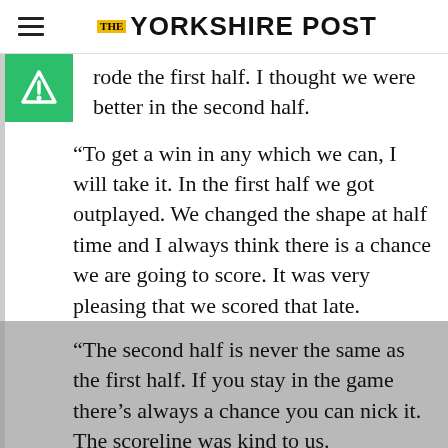THE YORKSHIRE POST
rode the first half. I thought we were better in the second half.
“To get a win in any which we can, I will take it. In the first half we got outplayed. We changed the shape at half time and I always think there is a chance we are going to score. It was very pleasing that we scored that late.
“The second half is never the same as the first half. If you stay in the game there’s always a chance you can nick it. The scoreline was kind to us.